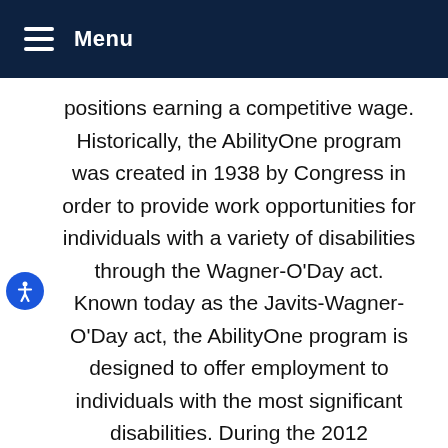Menu
positions earning a competitive wage. Historically, the AbilityOne program was created in 1938 by Congress in order to provide work opportunities for individuals with a variety of disabilities through the Wagner-O'Day act. Known today as the Javits-Wagner-O'Day act, the AbilityOne program is designed to offer employment to individuals with the most significant disabilities. During the 2012 Grassroots Advocacy Conference, Ohio Valley Goodwill's team members had the opportunity to meet directly with Senator Sherrod Brown, Representatives Chabot and Schmidt and with an aide from Senator Rob Portman's office. The purpose